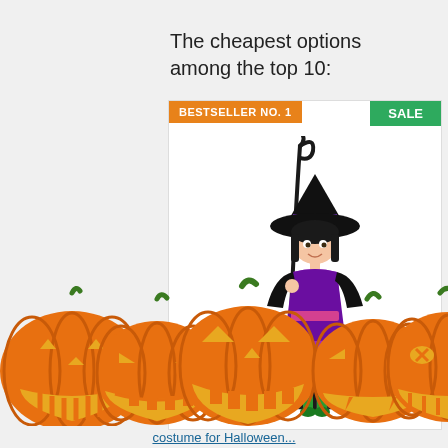The cheapest options among the top 10:
[Figure (photo): Product listing card showing a child dressed in a purple and black witch Halloween costume with a witch hat, holding a broom staff, with a blue owl figurine at the base. Card has an orange 'BESTSELLER NO. 1' badge on the top-left and a green 'SALE' badge on the top-right.]
[Figure (illustration): A decorative row of five jack-o-lantern pumpkins with different carved face expressions at the bottom of the page.]
costume for Halloween...